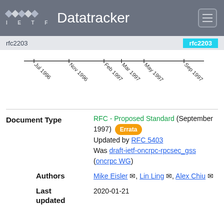IETF Datatracker
rfc2203
[Figure (other): Timeline showing document history with dates: Jul 1996, Nov 1996, Feb 1997, Mar 1997, May 1997, Sep 1997]
| Field | Value |
| --- | --- |
| Document Type | RFC - Proposed Standard (September 1997) Errata
Updated by RFC 5403
Was draft-ietf-oncrpc-rpcsec_gss (oncrpc WG) |
| Authors | Mike Eisler, Lin Ling, Alex Chiu |
| Last updated | 2020-01-21 |